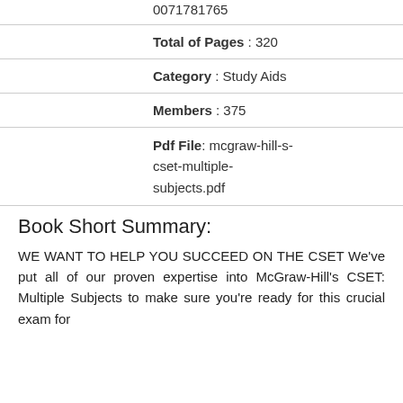0071781765
Total of Pages : 320
Category : Study Aids
Members : 375
Pdf File: mcgraw-hill-s-cset-multiple-subjects.pdf
Book Short Summary:
WE WANT TO HELP YOU SUCCEED ON THE CSET We've put all of our proven expertise into McGraw-Hill's CSET: Multiple Subjects to make sure you're ready for this crucial exam for